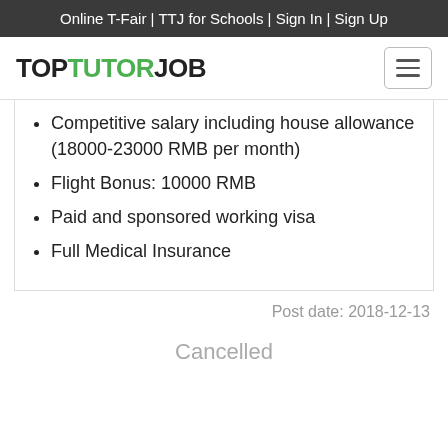Online T-Fair | TTJ for Schools | Sign In | Sign Up
[Figure (logo): TopTutorJob logo with TUTOR in green and TOP/JOB in black, plus hamburger menu icon]
Competitive salary including house allowance (18000-23000 RMB per month)
Flight Bonus: 10000 RMB
Paid and sponsored working visa
Full Medical Insurance
Post date: 2018-12-13
Cancelled